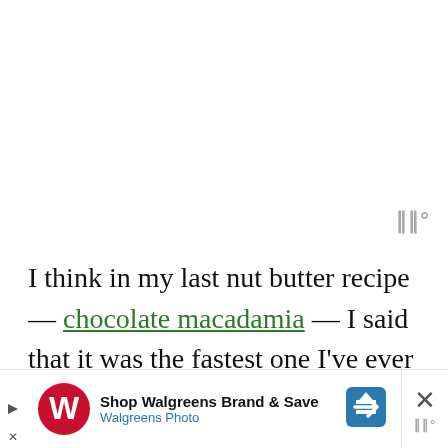[Figure (other): Weather/forecast icon — three vertical bars with a degree symbol, displayed in gray at top right]
I think in my last nut butter recipe — chocolate macadamia — I said that it was the fastest one I've ever made. I'm amending that statement to say that these pine nuts broke down in literally less than a minute. THIS is the fastest nut butter
[Figure (other): Walgreens advertisement banner: 'Shop Walgreens Brand & Save / Walgreens Photo' with Walgreens W logo, a blue navigation arrow icon, a close X button, and a small gray weather icon]